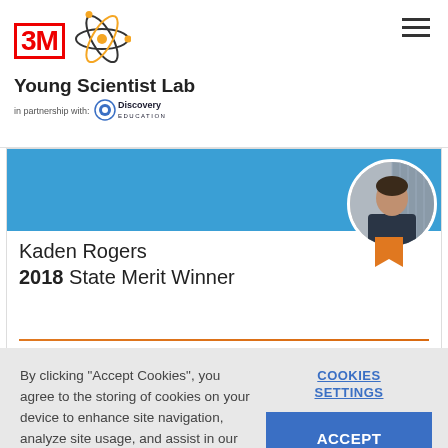[Figure (logo): 3M Young Scientist Lab logo with atom icon, in partnership with Discovery Education]
[Figure (photo): Profile photo of Kaden Rogers in a circular frame with orange ribbon badge]
Kaden Rogers
2018 State Merit Winner
By clicking "Accept Cookies", you agree to the storing of cookies on your device to enhance site navigation, analyze site usage, and assist in our marketing efforts. Cookie Policy
COOKIES SETTINGS
ACCEPT COOKIES